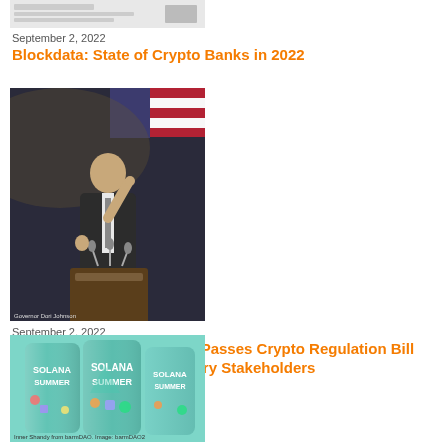[Figure (screenshot): Thumbnail image of a Blockdata report document]
September 2, 2022
Blockdata: State of Crypto Banks in 2022
[Figure (photo): Photo of a man in a suit speaking at a podium with an American flag in the background, pointing upward]
September 2, 2022
California State Assembly Passes Crypto Regulation Bill That is Criticized by Industry Stakeholders
[Figure (photo): Photo of two Solana Summer branded beverage cans with colorful artwork]
Inner Shandy from barmDAO. Image: barmDAO2